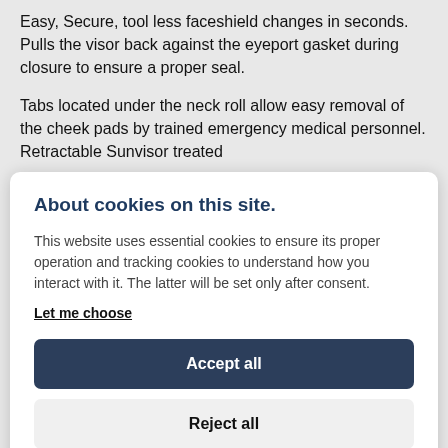Easy, Secure, tool less faceshield changes in seconds. Pulls the visor back against the eyeport gasket during closure to ensure a proper seal.
Tabs located under the neck roll allow easy removal of the cheek pads by trained emergency medical personnel. Retractable Sunvisor treated
About cookies on this site.
This website uses essential cookies to ensure its proper operation and tracking cookies to understand how you interact with it. The latter will be set only after consent.
Let me choose
Accept all
Reject all